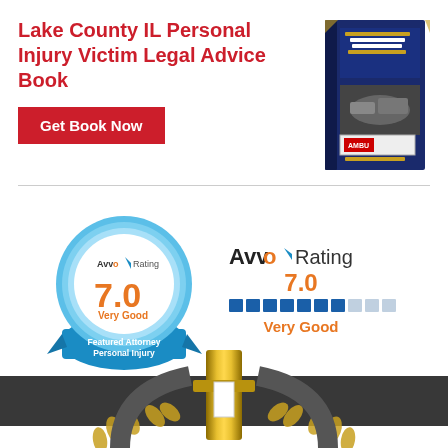Lake County IL Personal Injury Victim Legal Advice Book
[Figure (photo): Book cover: Learn The Rule of Fives - a legal advice book by Robert T. Edens, showing car accident images]
Get Book Now
[Figure (infographic): Avvo Rating badge: circular blue badge showing 7.0 rating, Very Good, Featured Attorney Personal Injury]
[Figure (infographic): Avvo Rating text display: Avvo Rating 7.0, progress bar showing approximately 7/10 filled, Very Good]
[Figure (photo): Award trophy or number 1 award with gold laurel wreath on dark background, partially visible at bottom of page]